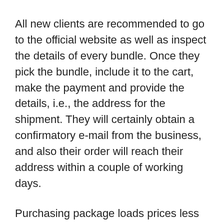All new clients are recommended to go to the official website as well as inspect the details of every bundle. Once they pick the bundle, include it to the cart, make the payment and provide the details, i.e., the address for the shipment. They will certainly obtain a confirmatory e-mail from the business, and also their order will reach their address within a couple of working days.
Purchasing package loads prices less than buying one container every month. In addition, there are no delivery costs applicable on mass purchases. If you are searching for a budget friendly choice, do deny one container and also invest your cash on 3 jars or 6 containers pack and conserve optimal